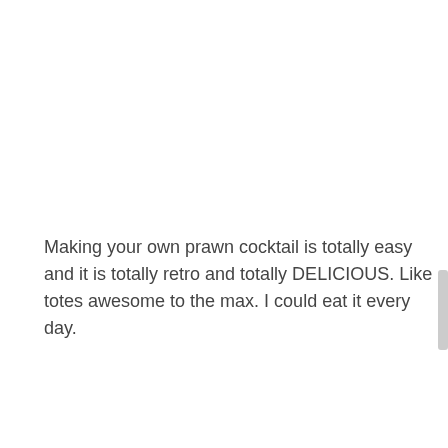Making your own prawn cocktail is totally easy and it is totally retro and totally DELICIOUS. Like totes awesome to the max. I could eat it every day.